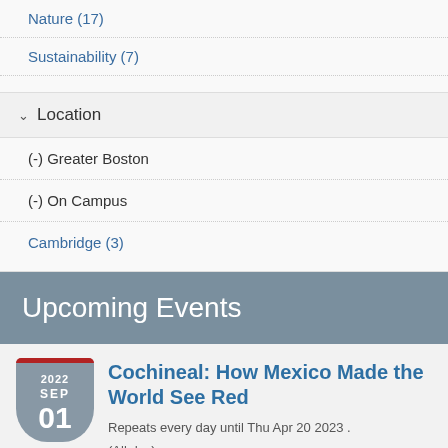Nature (17)
Sustainability (7)
Location
(-) Greater Boston
(-) On Campus
Cambridge (3)
Upcoming Events
2022 SEP 01
Cochineal: How Mexico Made the World See Red
Repeats every day until Thu Apr 20 2023 .
(All day)